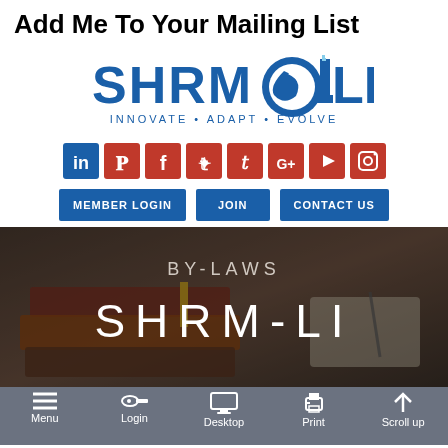Add Me To Your Mailing List
[Figure (logo): SHRM-LI logo with lighthouse and swirl, tagline: INNOVATE • ADAPT • EVOLVE]
[Figure (infographic): Social media icons row: LinkedIn, Pinterest, Facebook, Twitter, Google+, YouTube, Instagram]
[Figure (infographic): Navigation buttons: MEMBER LOGIN, JOIN, CONTACT US]
[Figure (photo): Hero image of stacked leather books with BY-LAWS and SHRM-LI text overlay]
[Figure (infographic): Bottom toolbar with Menu, Login, Desktop, Print, Scroll up icons]